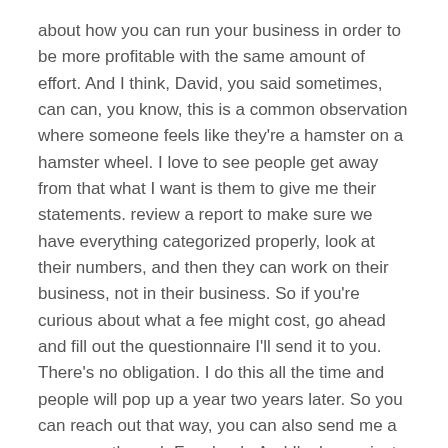about how you can run your business in order to be more profitable with the same amount of effort. And I think, David, you said sometimes, can can, you know, this is a common observation where someone feels like they're a hamster on a hamster wheel. I love to see people get away from that what I want is them to give me their statements. review a report to make sure we have everything categorized properly, look at their numbers, and then they can work on their business, not in their business. So if you're curious about what a fee might cost, go ahead and fill out the questionnaire I'll send it to you. There's no obligation. I do this all the time and people will pop up a year two years later. So you can reach out that way, you can also send me a message through Facebook. And I'm happy just to do a phone call with anyone if they want to just chat a little bit about what's involved.
David 38:08